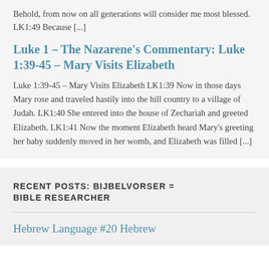Behold, from now on all generations will consider me most blessed. LK1:49 Because [...]
Luke 1 – The Nazarene's Commentary: Luke 1:39-45 – Mary Visits Elizabeth
Luke 1:39-45 – Mary Visits Elizabeth LK1:39 Now in those days Mary rose and traveled hastily into the hill country to a village of Judah. LK1:40 She entered into the house of Zechariah and greeted Elizabeth. LK1:41 Now the moment Elizabeth heard Mary's greeting her baby suddenly moved in her womb, and Elizabeth was filled [...]
RECENT POSTS: BIJBELVORSER = BIBLE RESEARCHER
Hebrew Language #20 Hebrew